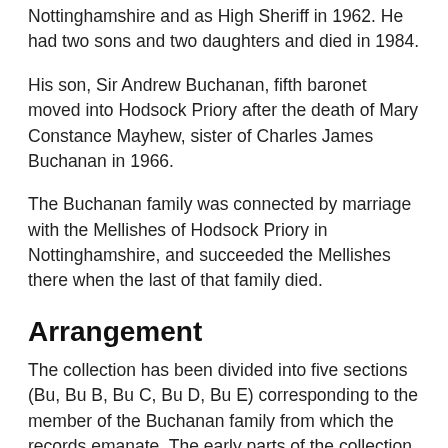Nottinghamshire and as High Sheriff in 1962. He had two sons and two daughters and died in 1984.
His son, Sir Andrew Buchanan, fifth baronet moved into Hodsock Priory after the death of Mary Constance Mayhew, sister of Charles James Buchanan in 1966.
The Buchanan family was connected by marriage with the Mellishes of Hodsock Priory in Nottinghamshire, and succeeded the Mellishes there when the last of that family died.
Arrangement
The collection has been divided into five sections (Bu, Bu B, Bu C, Bu D, Bu E) corresponding to the member of the Buchanan family from which the records emanate. The early parts of the collection were bound by the Buchanan family into volumes and, although